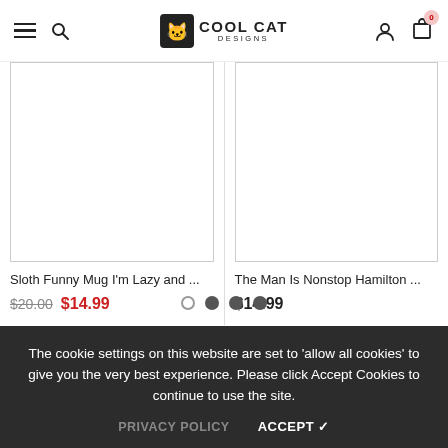Cool Cat Designs — navigation header with hamburger, search, logo, account, cart (0)
[Figure (photo): Product image placeholder (white/empty) for Sloth Funny Mug]
Sloth Funny Mug I'm Lazy and ...
$20.00  $14.99
[Figure (photo): Product image placeholder (white/empty) for The Man Is Nonstop Hamilton mug]
The Man Is Nonstop Hamilton ...
$14.99
The cookie settings on this website are set to 'allow all cookies' to give you the very best experience. Please click Accept Cookies to continue to use the site.
PRIVACY POLICY   ACCEPT ✓